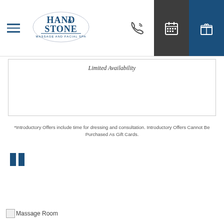Hand & Stone Massage and Facial Spa - navigation header with logo, phone, calendar, and gift icons
Limited Availability
*Introductory Offers include time for dressing and consultation. Introductory Offers Cannot Be Purchased As Gift Cards.
[Figure (other): Blue pause/bookmark icon made of two vertical bars]
[Figure (photo): Broken image placeholder labeled Massage Room]